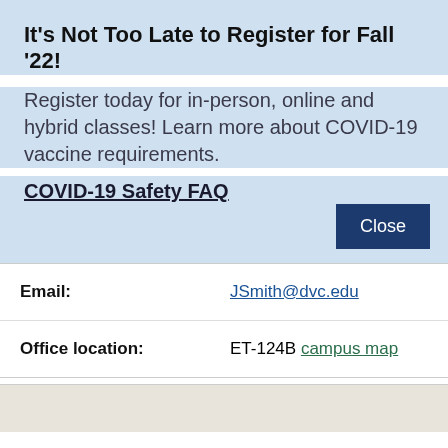It's Not Too Late to Register for Fall '22!
Register today for in-person, online and hybrid classes! Learn more about COVID-19 vaccine requirements.
COVID-19 Safety FAQ
| Email: | JSmith@dvc.edu |
| Office location: | ET-124B campus map |